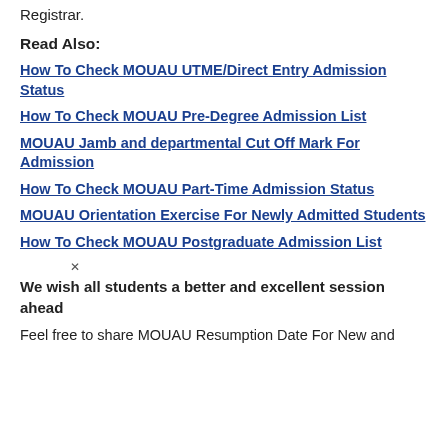Registrar.
Read Also:
How To Check MOUAU UTME/Direct Entry Admission Status
How To Check MOUAU Pre-Degree Admission List
MOUAU Jamb and departmental Cut Off Mark For Admission
How To Check MOUAU Part-Time Admission Status
MOUAU Orientation Exercise For Newly Admitted Students
How To Check MOUAU Postgraduate Admission List
We wish all students a better and excellent session ahead
Feel free to share MOUAU Resumption Date For New and